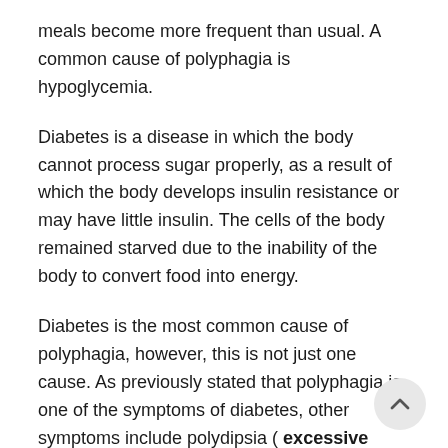meals become more frequent than usual. A common cause of polyphagia is hypoglycemia.
Diabetes is a disease in which the body cannot process sugar properly, as a result of which the body develops insulin resistance or may have little insulin. The cells of the body remained starved due to the inability of the body to convert food into energy.
Diabetes is the most common cause of polyphagia, however, this is not just one cause. As previously stated that polyphagia is one of the symptoms of diabetes, other symptoms include polydipsia ( excessive thirst ) and polyuria (excess urination).
One should be careful in the case of diabetes and seek help from their dietitian or doctor. As the polyphagia that arose from diabetes can cause weight gain and overeating